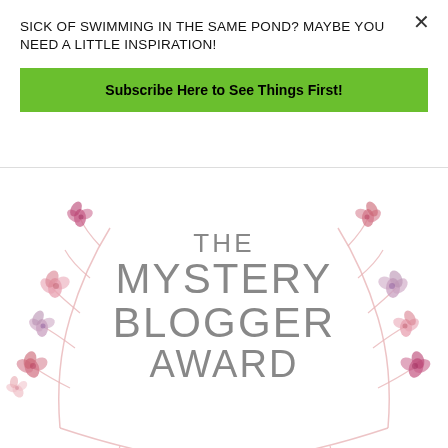SICK OF SWIMMING IN THE SAME POND? MAYBE YOU NEED A LITTLE INSPIRATION!
Subscribe Here to See Things First!
[Figure (illustration): The Mystery Blogger Award badge with a watercolor floral wreath surrounding the text 'THE MYSTERY BLOGGER AWARD' in gray uppercase lettering]